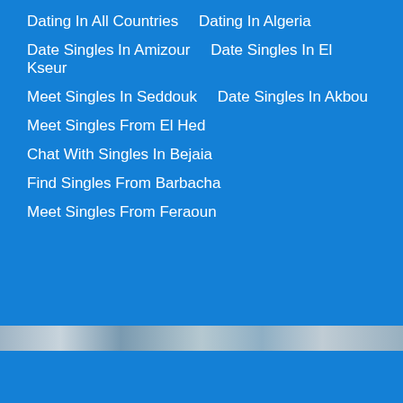Dating In All Countries   Dating In Algeria
Date Singles In Amizour   Date Singles In El Kseur
Meet Singles In Seddouk   Date Singles In Akbou
Meet Singles From El Hed
Chat With Singles In Bejaia
Find Singles From Barbacha
Meet Singles From Feraoun
[Figure (photo): Strip of profile photos of singles]
Top Countries
India   United Arab Emirates   United States
Philippines   Kenya   South Africa   France